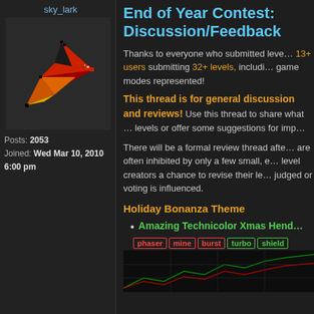sky_lark
[Figure (illustration): Pixel art avatar showing a paper airplane / dart shape in red, orange, yellow and black on dark background]
Posts: 2053
Joined: Wed Mar 10, 2010 6:00 pm
End of Year Contest: Discussion/Feedback
Thanks to everyone who submitted levels, 13+ users submitting 32+ levels, including all game modes represented!
This thread is for general discussion and reviews! Use this thread to share what you think of levels or offer some suggestions for improvements.
There will be a formal review thread after... are often inhibited by only a few small, easy fixes. level creators a chance to revise their levels before judged or voting is influenced.
Holiday Bonanza Theme
Amazing Technicolor Xmas Hend...
Tags: phaser mine burst turbo shield